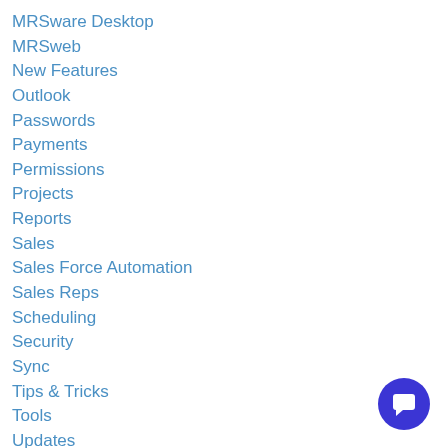MRSware Desktop
MRSweb
New Features
Outlook
Passwords
Payments
Permissions
Projects
Reports
Sales
Sales Force Automation
Sales Reps
Scheduling
Security
Sync
Tips & Tricks
Tools
Updates
Web Client
Archives